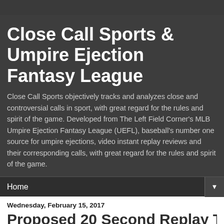Close Call Sports & Umpire Ejection Fantasy League
Close Call Sports objectively tracks and analyzes close and controversial calls in sport, with great regard for the rules and spirit of the game. Developed from The Left Field Corner's MLB Umpire Ejection Fantasy League (UEFL), baseball's number one source for umpire ejections, video instant replay reviews and their corresponding calls, with great regard for the rules and spirit of the game.
Home ▼
Wednesday, February 15, 2017
Proposed 20 Second Replay Time...